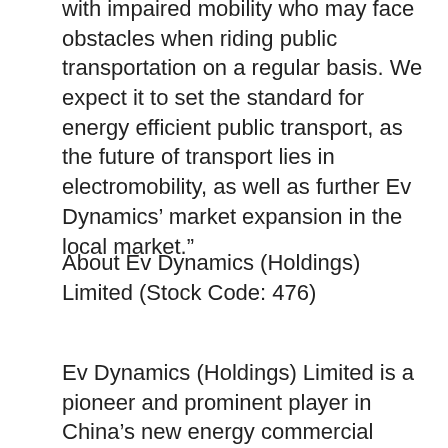with impaired mobility who may face obstacles when riding public transportation on a regular basis. We expect it to set the standard for energy efficient public transport, as the future of transport lies in electromobility, as well as further Ev Dynamics’ market expansion in the local market.”
About Ev Dynamics (Holdings) Limited (Stock Code: 476)
Ev Dynamics (Holdings) Limited is a pioneer and prominent player in China’s new energy commercial vehicles market, as well as a whole-vehicle manufacturer of specialty passenger vehicles and new energy passenger vehicles. It is an integrated driving and logistics solutions provider with a solid technological foundation in diverse areas including new energy platform power systems and their key components. The Group has a production base in